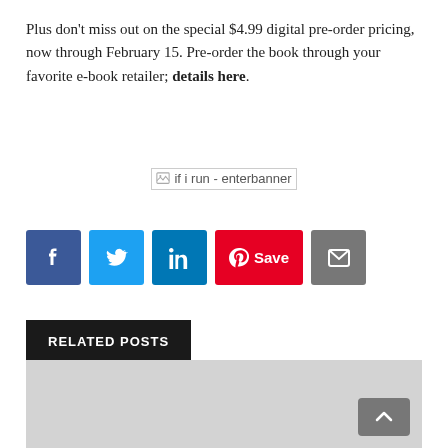Plus don't miss out on the special $4.99 digital pre-order pricing, now through February 15. Pre-order the book through your favorite e-book retailer; details here.
[Figure (other): Broken image placeholder labeled 'if i run - enterbanner']
[Figure (other): Social sharing buttons: Facebook, Twitter, LinkedIn, Pinterest Save, Email]
RELATED POSTS
[Figure (photo): Light gray placeholder image for a related post]